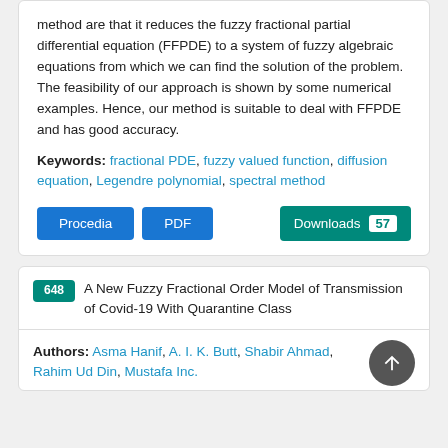method are that it reduces the fuzzy fractional partial differential equation (FFPDE) to a system of fuzzy algebraic equations from which we can find the solution of the problem. The feasibility of our approach is shown by some numerical examples. Hence, our method is suitable to deal with FFPDE and has good accuracy.
Keywords: fractional PDE, fuzzy valued function, diffusion equation, Legendre polynomial, spectral method
Procedia  PDF  Downloads 57
648  A New Fuzzy Fractional Order Model of Transmission of Covid-19 With Quarantine Class
Authors: Asma Hanif, A. I. K. Butt, Shabir Ahmad, Rahim Ud Din, Mustafa Inc.